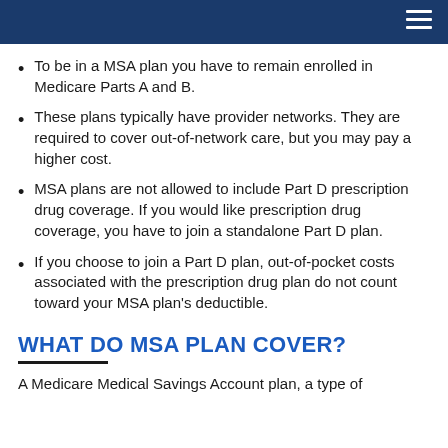To be in a MSA plan you have to remain enrolled in Medicare Parts A and B.
These plans typically have provider networks. They are required to cover out-of-network care, but you may pay a higher cost.
MSA plans are not allowed to include Part D prescription drug coverage. If you would like prescription drug coverage, you have to join a standalone Part D plan.
If you choose to join a Part D plan, out-of-pocket costs associated with the prescription drug plan do not count toward your MSA plan's deductible.
WHAT DO MSA PLAN COVER?
A Medicare Medical Savings Account plan, a type of...